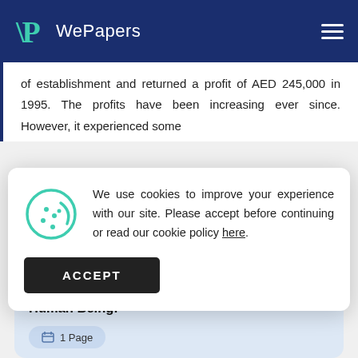WePapers
of establishment and returned a profit of AED 245,000 in 1995. The profits have been increasing ever since. However, it experienced some
Continue reading
We use cookies to improve your experience with our site. Please accept before continuing or read our cookie policy here.
ACCEPT
Good Case Study About When The Product Is Human Being!
1 Page